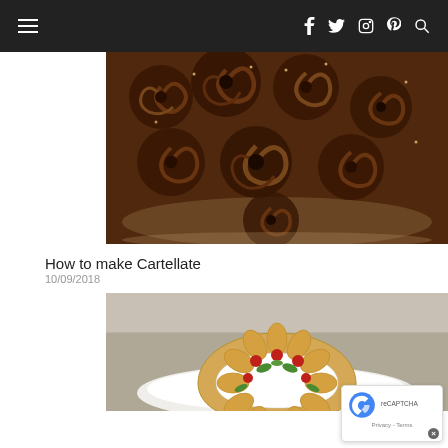Navigation bar with hamburger menu and social icons (f, Twitter, Instagram, Pinterest, Search)
[Figure (photo): Close-up photo of Cartellate pastries on a plate — spiral-shaped fried pastries coated in dark chocolate sauce and seeds, arranged on a decorative plate]
How to make Cartellate
10/09/2018
[Figure (photo): Photo of a wreath-shaped pastry on a white plate, decorated with red cherries and green herb garnish]
[Figure (other): reCAPTCHA badge with privacy and terms links and close button]